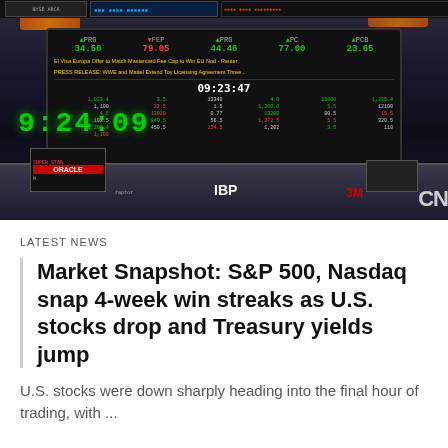[Figure (photo): Stock exchange trading floor with digital ticker boards showing stock prices, a clock showing 9:24:09, and a trading desk with screens. CNN logo visible at bottom right.]
LATEST NEWS
Market Snapshot: S&P 500, Nasdaq snap 4-week win streaks as U.S. stocks drop and Treasury yields jump
U.S. stocks were down sharply heading into the final hour of trading, with ...